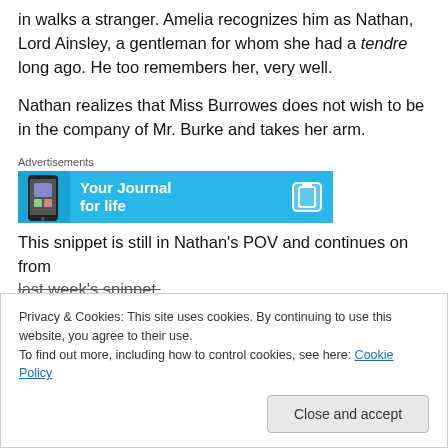in walks a stranger. Amelia recognizes him as Nathan, Lord Ainsley, a gentleman for whom she had a tendre long ago. He too remembers her, very well.
Nathan realizes that Miss Burrowes does not wish to be in the company of Mr. Burke and takes her arm.
[Figure (other): Advertisement banner: 'Your Journal for life' with a phone image on blue background]
This snippet is still in Nathan's POV and continues on from last week's snippet.
Privacy & Cookies: This site uses cookies. By continuing to use this website, you agree to their use. To find out more, including how to control cookies, see here: Cookie Policy